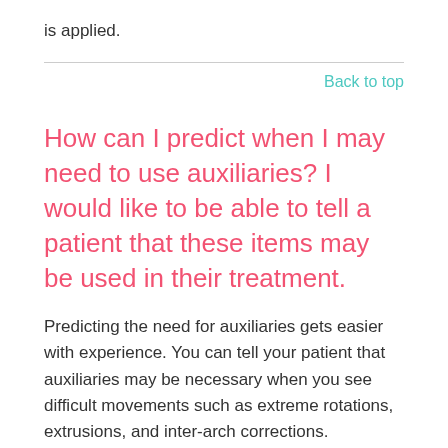is applied.
Back to top
How can I predict when I may need to use auxiliaries? I would like to be able to tell a patient that these items may be used in their treatment.
Predicting the need for auxiliaries gets easier with experience. You can tell your patient that auxiliaries may be necessary when you see difficult movements such as extreme rotations, extrusions, and inter-arch corrections.